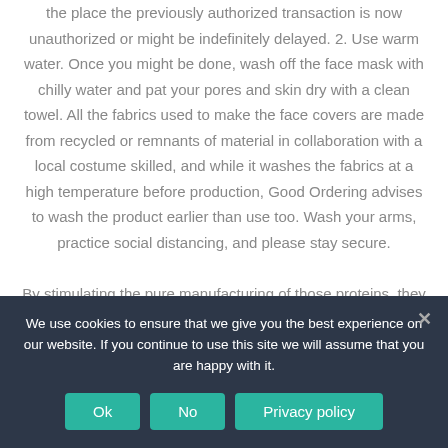the place the previously authorized transaction is now unauthorized or might be indefinitely delayed. 2. Use warm water. Once you might be done, wash off the face mask with chilly water and pat your pores and skin dry with a clean towel. All the fabrics used to make the face covers are made from recycled or remnants of material in collaboration with a local costume skilled, and while it washes the fabrics at a high temperature before production, Good Ordering advises to wash the product earlier than use too. Wash your arms, practice social distancing, and please stay secure. By stimulating the pure manufacturing of those proteins, they may have the same complex makeup at your existing proteins in your skin and will have the ability to type stable bonds between each other as a way to create the tensile structure the
We use cookies to ensure that we give you the best experience on our website. If you continue to use this site we will assume that you are happy with it.